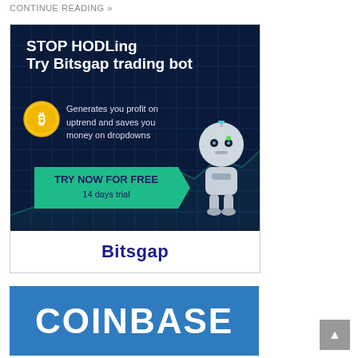CONTINUE READING »
[Figure (illustration): Bitsgap trading bot advertisement. Dark blue background with grid lines, robot graphic on the right. Text: STOP HODLing, Try Bitsgap trading bot, Generates you profit on uptrend and saves you money on dropdowns. Green button: TRY NOW FOR FREE, 14 days trial. White footer with Bitsgap logo in dark blue.]
[Figure (illustration): Coinbase advertisement on blue background with large white text reading COINBASE.]